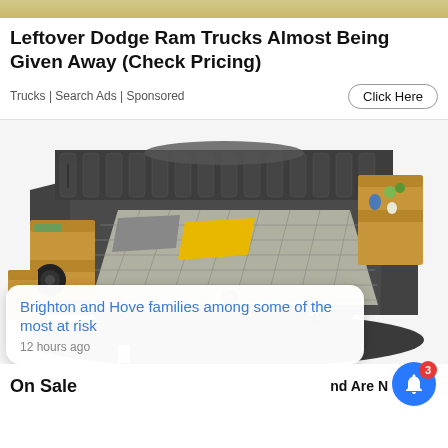[Figure (photo): Top tan/khaki colored banner strip]
Leftover Dodge Ram Trucks Almost Being Given Away (Check Pricing)
Trucks | Search Ads | Sponsored
Click Here
[Figure (photo): Large multi-functional bed with dark grey upholstery, built-in speakers, storage compartments, wooden side shelves, and a yellow pillow on a plaid/checkered mattress]
X
Brighton and Hove families among some of the most at risk
12 hours ago
nd Are N
On Sale
3